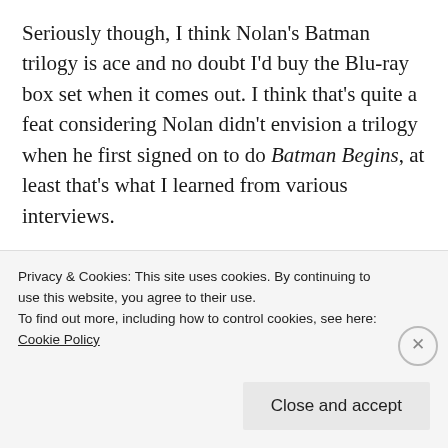Seriously though, I think Nolan's Batman trilogy is ace and no doubt I'd buy the Blu-ray box set when it comes out. I think that's quite a feat considering Nolan didn't envision a trilogy when he first signed on to do Batman Begins, at least that's what I learned from various interviews.
6. Insomnia (2002)
Privacy & Cookies: This site uses cookies. By continuing to use this website, you agree to their use. To find out more, including how to control cookies, see here: Cookie Policy